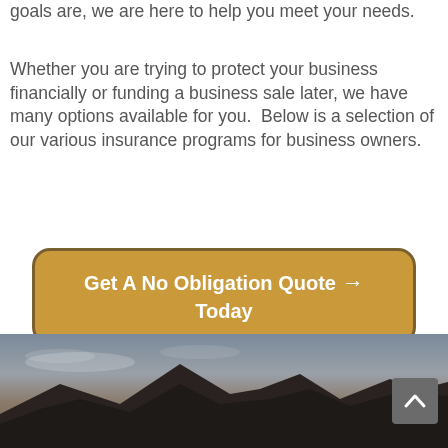goals are, we are here to help you meet your needs.
Whether you are trying to protect your business financially or funding a business sale later, we have many options available for you.  Below is a selection of our various insurance programs for business owners.
Get A No Obligation Quote Today →
[Figure (photo): Landscape photo showing mountain scenery with a dark sky and mountain silhouette at the bottom of the page. A grey scroll-to-top button with an upward arrow is visible in the lower right corner.]